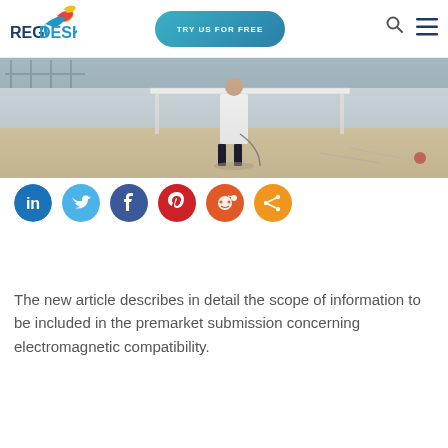REGDESK | TRY US FOR FREE
[Figure (photo): Photo of a person in a white lab coat standing near a white table/desk in a laboratory or office setting]
[Figure (infographic): Social sharing icons row: LinkedIn (blue), Twitter (light blue), Facebook (dark blue), Pinterest (red), Reddit (orange-red), Share (orange)]
The new article describes in detail the scope of information to be included in the premarket submission concerning electromagnetic compatibility.